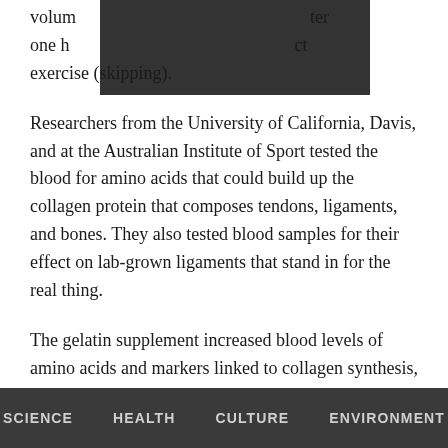volum... [redacted] ...ter one h... [redacted] ...ct exercise (skipping).
Researchers from the University of California, Davis, and at the Australian Institute of Sport tested the blood for amino acids that could build up the collagen protein that composes tendons, ligaments, and bones. They also tested blood samples for their effect on lab-grown ligaments that stand in for the real thing.
The gelatin supplement increased blood levels of amino acids and markers linked to collagen synthesis, and improved the mechanics of the engineered lab-grown ligaments, they found.
“These data suggest that adding gelatin and vitamin C to an
SCIENCE    HEALTH    CULTURE    ENVIRONMENT